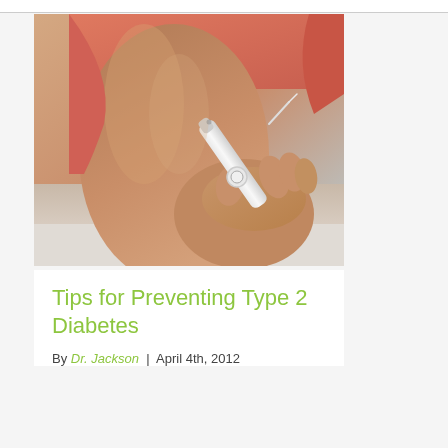[Figure (photo): Close-up photo of a person wearing a coral/salmon pink short-sleeve shirt, holding an insulin injection pen against their upper arm, about to inject. The arm shows medium-dark skin tone. White background in lower portion of image.]
Tips for Preventing Type 2 Diabetes
By Dr. Jackson  |  April 4th, 2012